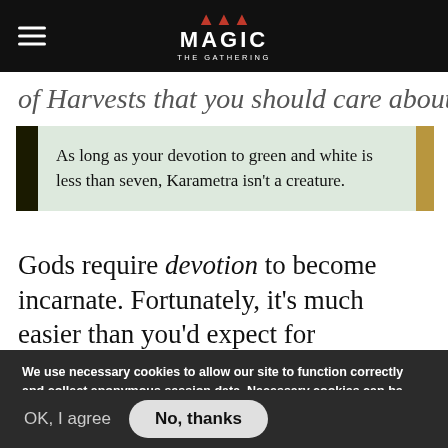MAGIC THE GATHERING
of Harvests that you should care about.
[Figure (other): Magic: The Gathering card rule text box: As long as your devotion to green and white is less than seven, Karametra isn't a creature.]
Gods require devotion to become incarnate. Fortunately, it's much easier than you'd expect for Karametra, God of Harvests to become a fatty for you: Each God in Born of the Gods is two
We use necessary cookies to allow our site to function correctly and collect anonymous session data. Necessary cookies can be opted out through your browser settings. We also use optional cookies to personalize content and ads, provide social medial features and analyze web traffic. By clicking "OK, I agree," you consent to optional cookies. (Learn more about cookies.)
OK, I agree
No, thanks